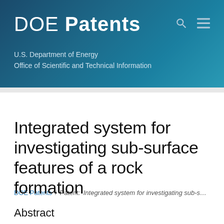DOE Patents
U.S. Department of Energy
Office of Scientific and Technical Information
DOE Patents / Patent: Integrated system for investigating sub-sur…
Integrated system for investigating sub-surface features of a rock formation
Abstract
A system for investigating non-linear properties of a rock